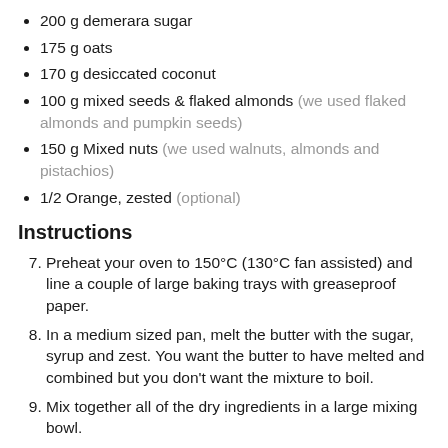200 g demerara sugar
175 g oats
170 g desiccated coconut
100 g mixed seeds & flaked almonds (we used flaked almonds and pumpkin seeds)
150 g Mixed nuts (we used walnuts, almonds and pistachios)
1/2 Orange, zested (optional)
Instructions
Preheat your oven to 150°C (130°C fan assisted) and line a couple of large baking trays with greaseproof paper.
In a medium sized pan, melt the butter with the sugar, syrup and zest. You want the butter to have melted and combined but you don't want the mixture to boil.
Mix together all of the dry ingredients in a large mixing bowl.
Pour the syrup and butter mixture over the dry ingredients, mixing well until all of the dry ingredients are coated.
Transfer the mixture to the prepared baking trays, making sure that...